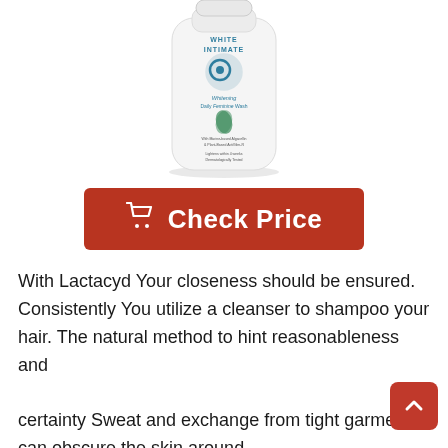[Figure (photo): Product photo of Lactacyd White Intimate Whitening Daily Feminine Wash bottle, white bottle with blue and green accents, partially cropped at top]
[Figure (other): Red 'Check Price' button with shopping cart icon]
With Lactacyd Your closeness should be ensured. Consistently You utilize a cleanser to shampoo your hair. The natural method to hint reasonableness and certainty Sweat and exchange from tight garments can obscure the skin around